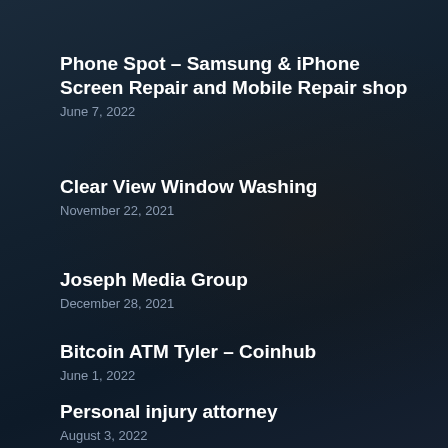Phone Spot – Samsung & iPhone Screen Repair and Mobile Repair shop
June 7, 2022
Clear View Window Washing
November 22, 2021
Joseph Media Group
December 28, 2021
Bitcoin ATM Tyler – Coinhub
June 1, 2022
Personal injury attorney
August 3, 2022